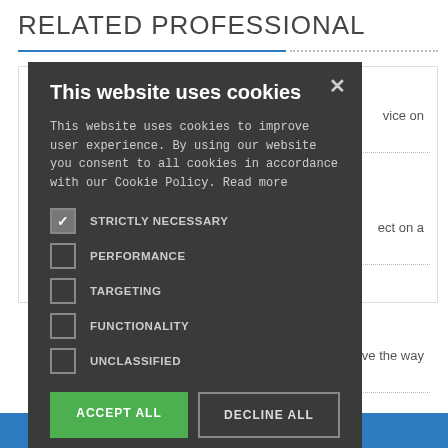RELATED PROFESSIONAL
[Figure (screenshot): Cookie consent modal dialog on a dark background overlay. The modal contains a title 'This website uses cookies', body text about cookie policy, checkboxes for STRICTLY NECESSARY (checked), PERFORMANCE, TARGETING, FUNCTIONALITY, UNCLASSIFIED, and two buttons: ACCEPT ALL (green) and DECLINE ALL (outlined). A gear icon and SHOW DETAILS link appears at the bottom.]